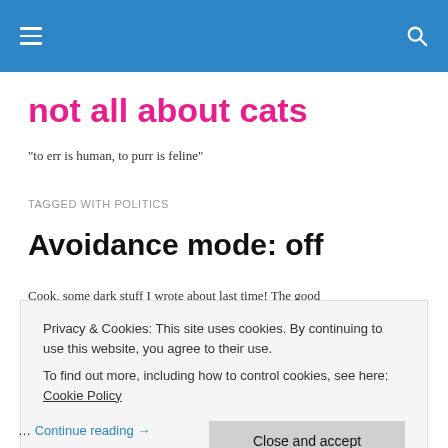not all about cats — navigation bar with hamburger menu and search icon
not all about cats
"to err is human, to purr is feline"
TAGGED WITH POLITICS
Avoidance mode: off
Cook, some dark stuff I wrote about last time! The good
Privacy & Cookies: This site uses cookies. By continuing to use this website, you agree to their use.
To find out more, including how to control cookies, see here: Cookie Policy
Close and accept
… Continue reading →